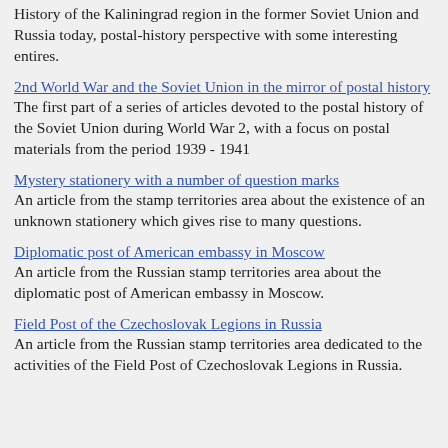History of the Kaliningrad region in the former Soviet Union and Russia today, postal-history perspective with some interesting entires.
2nd World War and the Soviet Union in the mirror of postal history
The first part of a series of articles devoted to the postal history of the Soviet Union during World War 2, with a focus on postal materials from the period 1939 - 1941
Mystery stationery with a number of question marks
An article from the stamp territories area about the existence of an unknown stationery which gives rise to many questions.
Diplomatic post of American embassy in Moscow
An article from the Russian stamp territories area about the diplomatic post of American embassy in Moscow.
Field Post of the Czechoslovak Legions in Russia
An article from the Russian stamp territories area dedicated to the activities of the Field Post of Czechoslovak Legions in Russia.